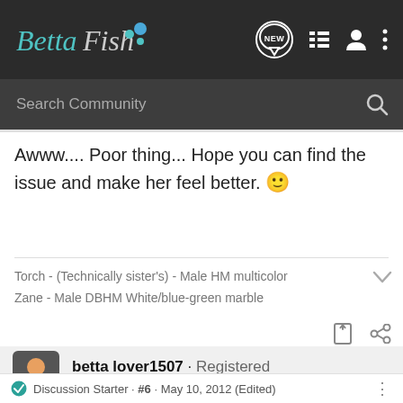[Figure (screenshot): BettaFish community forum website header with logo, NEW badge, list icon, person icon, and more (three dots) icon on dark background, plus a Search Community search bar below]
Awww.... Poor thing... Hope you can find the issue and make her feel better. 🙂
Torch - (Technically sister's) - Male HM multicolor
Zane - Male DBHM White/blue-green marble
betta lover1507 · Registered
Joined Aug 6, 2011 · 4,580 Posts
Discussion Starter · #6 · May 10, 2012 (Edited)